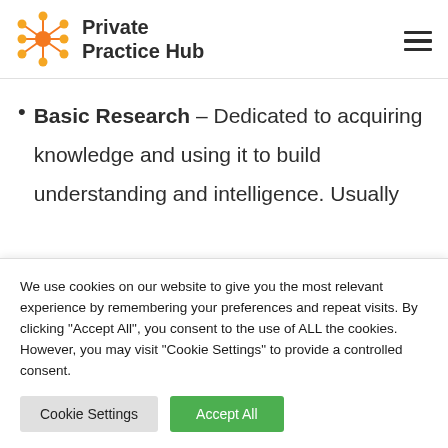Private Practice Hub
Basic Research – Dedicated to acquiring knowledge and using it to build understanding and intelligence. Usually the first step in basic research is to gather
We use cookies on our website to give you the most relevant experience by remembering your preferences and repeat visits. By clicking “Accept All”, you consent to the use of ALL the cookies. However, you may visit "Cookie Settings" to provide a controlled consent.